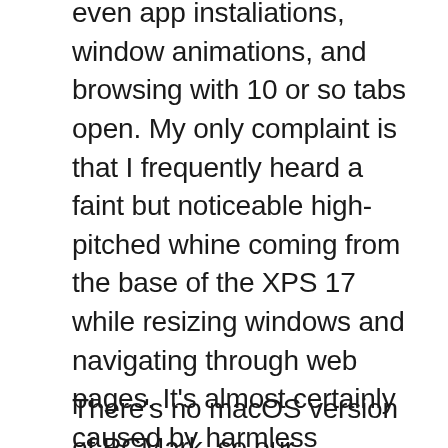even app instaliations, window animations, and browsing with 10 or so tabs open. My only complaint is that I frequently heard a faint but noticeable high-pitched whine coming from the base of the XPS 17 while resizing windows and navigating through web pages. It’s almost certainly caused by harmless electromagnetic vibrations (known as “coil whine”) in the CPU or GPU and is not a defect, though it is rare to hear it from high-end laptops that have ideally gone through extensive acoustical testing.
There’s no macOS version of PCMark, so our specialized multimedia content creation benchmarks offer a better look at how the XPS 17 performs against Apple’s flagship. In CPU-intensive tasks like rendering a 3D image in Cinebench and transcoding a 4K video to 1080p